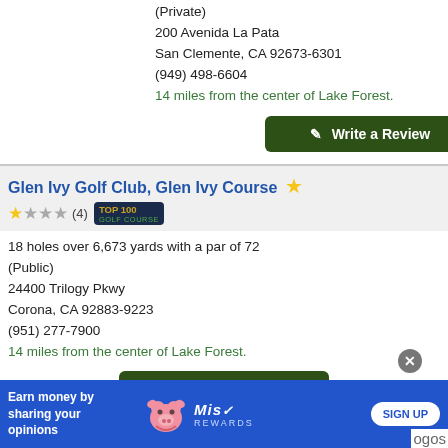(Private)
200 Avenida La Pata
San Clemente, CA 92673-6301
(949) 498-6604
14 miles from the center of Lake Forest.
✎ Write a Review
Glen Ivy Golf Club, Glen Ivy Course ★
★☆☆☆ (4) TOP 100 GOLF COURSE
18 holes over 6,673 yards with a par of 72
(Public)
24400 Trilogy Pkwy
Corona, CA 92883-9223
(951) 277-7900
14 miles from the center of Lake Forest.
✎ Write a Review
Check Tee Times
[Figure (infographic): Advertisement banner: blue background with text 'Earn money by sharing your opinions', a cartoon pig, Mis Rewards logo, and a SIGN UP button]